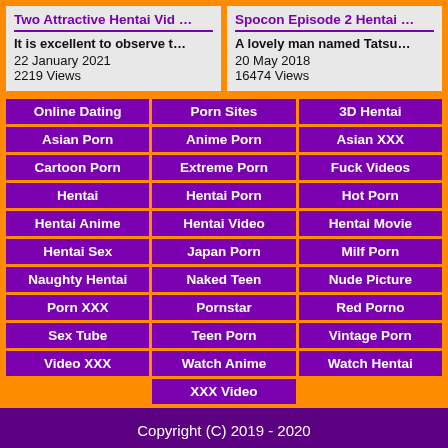Two Attractive Hentai Vid
It is excellent to observe t…
22 January 2021
2219 Views
Spocon Episode 2 Hentai
A lovely man named Tatsu…
20 May 2018
16474 Views
Online Dating
Porn Sites
3D Hentai
Asian Porn
Anime Porn
Asian XXX
Cartoon Porn
Extreme Porn
Fuck Videos
Hentai
Hentai Porn
Hot Porn
Hentai Anime
Hentai Video
Hentai Movie
Hentai Sex
Japan Porn
Milf Porn
Naughty Hentai
Naked Teen
Nude Picture
Porn XXX
Pornstar
Red Porno
Sex Tube
Teen Porn
Vintage Porn
Video XXX
Watch Anime
Watch Hentai
XXX Video
Copyright (C) 2019 - 2020
HentaiVideo.tv
All Rights Reserved